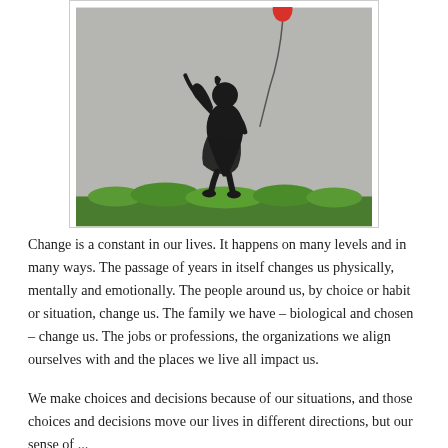[Figure (illustration): A Banksy-style street artwork showing a young girl in a black dress reaching up toward a red balloon (visible at the top), stenciled in black on a gray concrete wall with green grass at the bottom.]
Change is a constant in our lives. It happens on many levels and in many ways. The passage of years in itself changes us physically, mentally and emotionally. The people around us, by choice or habit or situation, change us. The family we have – biological and chosen – change us. The jobs or professions, the organizations we align ourselves with and the places we live all impact us.
We make choices and decisions because of our situations, and those choices and decisions move our lives in different directions, but our sense of ...